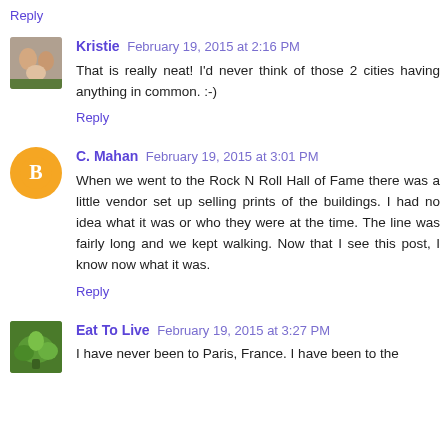Reply
Kristie  February 19, 2015 at 2:16 PM
That is really neat! I'd never think of those 2 cities having anything in common. :-)
Reply
C. Mahan  February 19, 2015 at 3:01 PM
When we went to the Rock N Roll Hall of Fame there was a little vendor set up selling prints of the buildings. I had no idea what it was or who they were at the time. The line was fairly long and we kept walking. Now that I see this post, I know now what it was.
Reply
Eat To Live  February 19, 2015 at 3:27 PM
I have never been to Paris, France. I have been to the